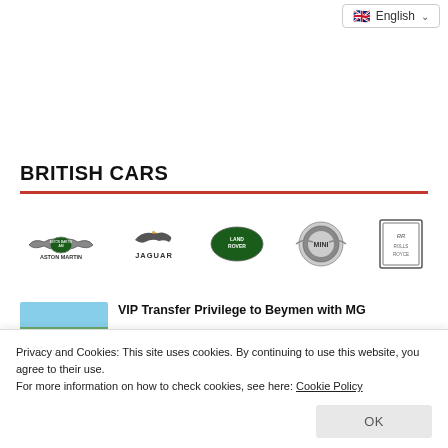🇬🇧 English ▾
BRITISH CARS
[Figure (logo): Row of British car brand logos: Aston Martin, Jaguar, Land Rover, MINI, Rolls-Royce]
VIP Transfer Privilege to Beymen with MG
Privacy and Cookies: This site uses cookies. By continuing to use this website, you agree to their use.
For more information on how to check cookies, see here: Cookie Policy
OK